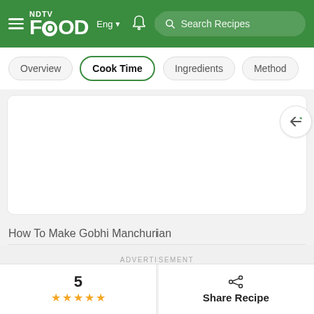NDTV Food | Eng | Search Recipes
Overview
Cook Time
Ingredients
Method
[Figure (other): Empty white content card area with a back arrow button on the right side]
How To Make Gobhi Manchurian
ADVERTISEMENT
5
Share Recipe